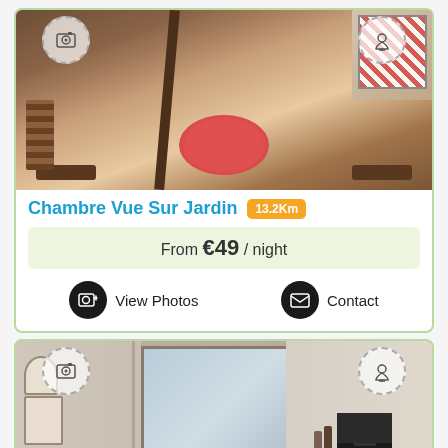[Figure (photo): Interior room photo showing a dining area with a round red-tablecloth table, wooden benches, exposed beam, and decorative wall art]
Chambre Vue Sur Jardin  13.2Km
From €49 / night
View Photos   Contact
[Figure (photo): Interior bedroom/room photo showing a mirror, wall art/clock, TV on a stand, beamed ceiling, in a white-walled room]